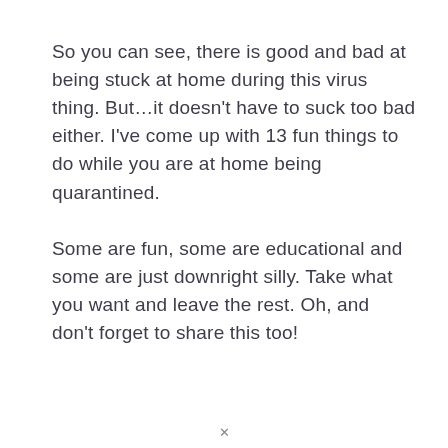So you can see, there is good and bad at being stuck at home during this virus thing. But…it doesn't have to suck too bad either. I've come up with 13 fun things to do while you are at home being quarantined.
Some are fun, some are educational and some are just downright silly. Take what you want and leave the rest. Oh, and don't forget to share this too!